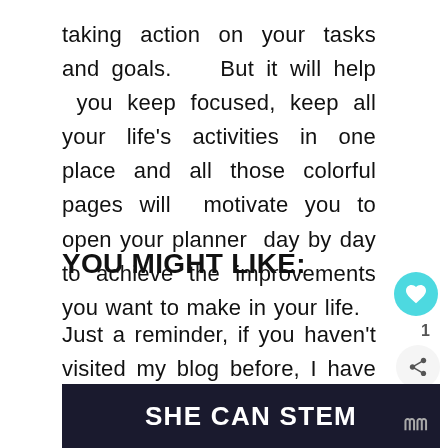taking action on your tasks and goals.    But it will help  you keep focused, keep all your life’s activities in one place and all those colorful pages will  motivate you to open your planner  day by day to achieve the improvements you want to make in your life.
YOU MIGHT LIKE:
Just a reminder, if you haven’t visited my blog before, I have designed over planner stickers printables just  for the Erin
[Figure (other): Social interaction buttons: teal heart icon button, share count '1', and share icon button]
[Figure (other): What's Next promotional box with grid image thumbnail and text 'Free Printable Label - Retr...']
[Figure (other): Bottom advertisement banner with dark background showing 'SHE CAN STEM' text in bold white]